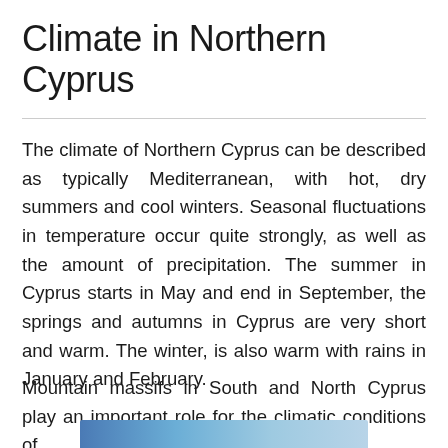Climate in Northern Cyprus
The climate of Northern Cyprus can be described as typically Mediterranean, with hot, dry summers and cool winters. Seasonal fluctuations in temperature occur quite strongly, as well as the amount of precipitation. The summer in Cyprus starts in May and end in September, the springs and autumns in Cyprus are very short and warm. The winter, is also warm with rains in January and February.
Mountain massifs in South and North Cyprus play an important role for the climatic conditions of
[Figure (photo): Partial view of a sky/landscape photo with blue gradient, cropped at the bottom of the page]